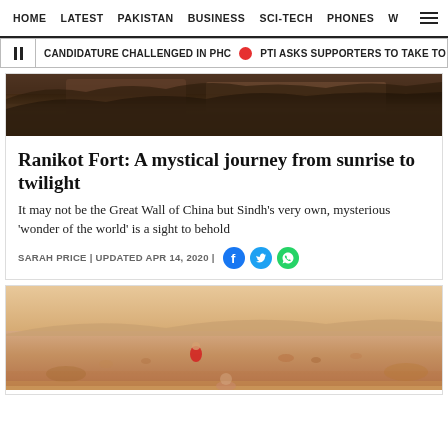HOME | LATEST | PAKISTAN | BUSINESS | SCI-TECH | PHONES | W ☰
CANDIDATURE CHALLENGED IN PHC  •  PTI ASKS SUPPORTERS TO TAKE TO STREET
[Figure (photo): Top portion of a dark rocky landscape photo, likely Ranikot Fort area with reddish-brown terrain]
Ranikot Fort: A mystical journey from sunrise to twilight
It may not be the Great Wall of China but Sindh's very own, mysterious 'wonder of the world' is a sight to behold
SARAH PRICE | UPDATED APR 14, 2020 |
[Figure (photo): Sandy desert landscape with blurred figures and a person in red clothing, likely at Ranikot Fort area]